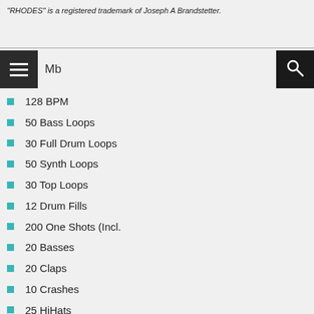"RHODES" is a registered trademark of Joseph A Brandstetter.
[Figure (screenshot): Navigation bar with hamburger menu icon on left showing 'Mb' text and search icon on right]
128 BPM
50 Bass Loops
30 Full Drum Loops
50 Synth Loops
30 Top Loops
12 Drum Fills
200 One Shots (Incl.
20 Basses
20 Claps
10 Crashes
25 HiHats
40 Kicks
20 Percussions
10 Rides
20 Snares
20 Synths